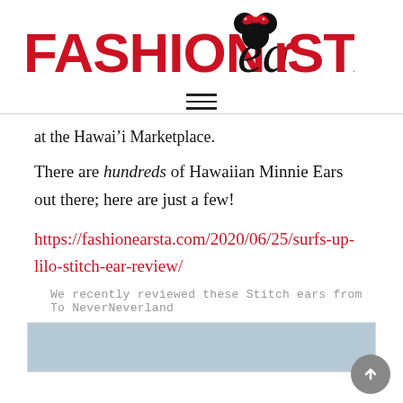FASHIONEARSTA
at the Hawai’i Marketplace.
There are hundreds of Hawaiian Minnie Ears out there; here are just a few!
https://fashionearsta.com/2020/06/25/surfs-up-lilo-stitch-ear-review/
We recently reviewed these Stitch ears from To NeverNeverland
[Figure (photo): Photo of Stitch ears, partially visible at bottom of page]